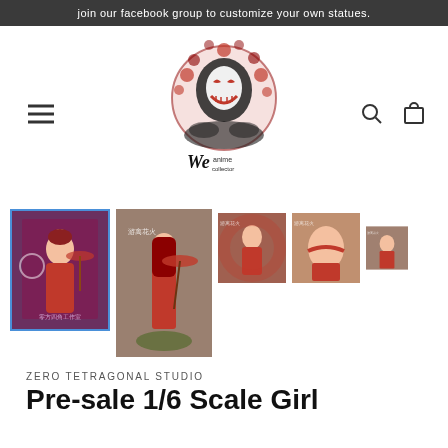join our facebook group to customize your own statues.
[Figure (logo): We Anime Collector logo with stylized skull mask in red and black ink art, circular design with decorative elements]
[Figure (photo): Gallery row of product photos: anime girl statue in 1/6 scale, Japanese style with red umbrella and kimono outfit, multiple angles]
ZERO TETRAGONAL STUDIO
Pre-sale 1/6 Scale Girl